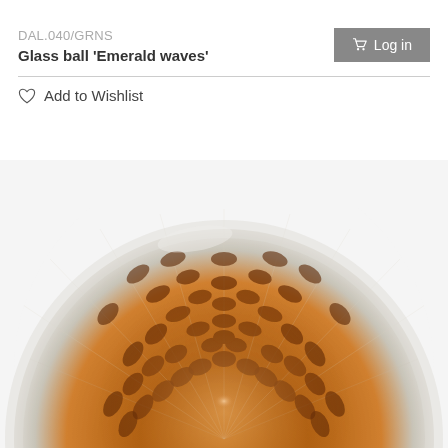DAL.040/GRNS
Log in
Glass ball 'Emerald waves'
Add to Wishlist
[Figure (photo): Close-up top view of a glass ball named 'Emerald waves', showing amber/golden-orange interior with a honeycomb/scale-like pattern and swirling radiating lines toward the edges, resembling waves or fish scales.]